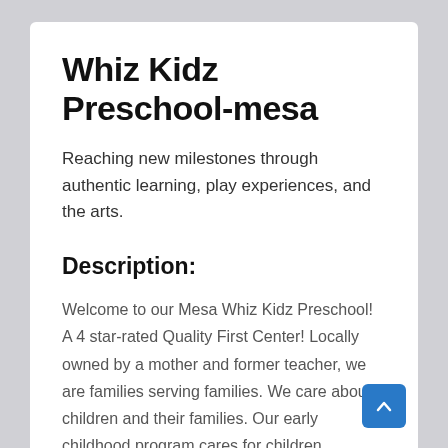Whiz Kidz Preschool-mesa
Reaching new milestones through authentic learning, play experiences, and the arts.
Description:
Welcome to our Mesa Whiz Kidz Preschool! A 4 star-rated Quality First Center! Locally owned by a mother and former teacher, we are families serving families. We care about children and their families. Our early childhood program cares for children between the ages of 2 months – 5 years of age. Our holistic play-based program offers a variety of learning experiences, healthy meals, DES childcare, as well as